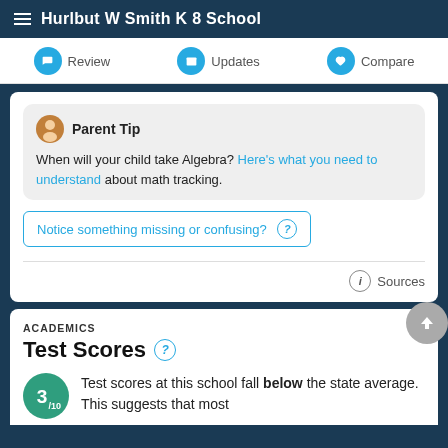Hurlbut W Smith K 8 School
Review | Updates | Compare
Parent Tip
When will your child take Algebra? Here's what you need to understand about math tracking.
Notice something missing or confusing? (?)
Sources
ACADEMICS
Test Scores
Test scores at this school fall below the state average. This suggests that most